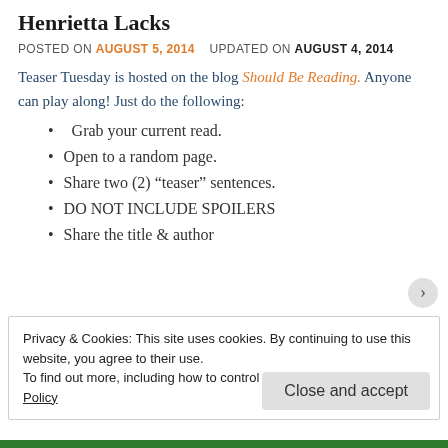Henrietta Lacks
POSTED ON AUGUST 5, 2014   UPDATED ON AUGUST 4, 2014
Teaser Tuesday is hosted on the blog Should Be Reading. Anyone can play along! Just do the following:
Grab your current read.
Open to a random page.
Share two (2) “teaser” sentences.
DO NOT INCLUDE SPOILERS
Share the title & author
Privacy & Cookies: This site uses cookies. By continuing to use this website, you agree to their use.
To find out more, including how to control cookies, see here: Cookie Policy